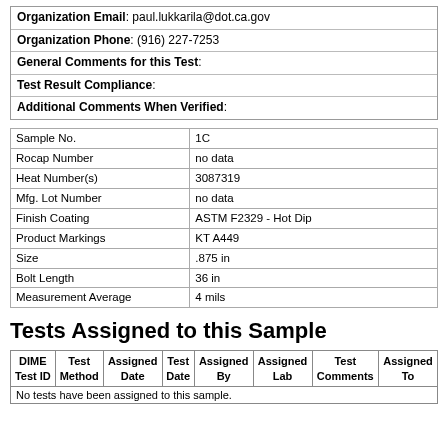Organization Email: paul.lukkarila@dot.ca.gov
Organization Phone: (916) 227-7253
General Comments for this Test:
Test Result Compliance:
Additional Comments When Verified:
| Field | Value |
| --- | --- |
| Sample No. | 1C |
| Rocap Number | no data |
| Heat Number(s) | 3087319 |
| Mfg. Lot Number | no data |
| Finish Coating | ASTM F2329 - Hot Dip |
| Product Markings | KT A449 |
| Size | .875 in |
| Bolt Length | 36 in |
| Measurement Average | 4 mils |
Tests Assigned to this Sample
| DIME Test ID | Test Method | Assigned Date | Test Date | Assigned By | Assigned Lab | Test Comments | Assigned To |
| --- | --- | --- | --- | --- | --- | --- | --- |
| No tests have been assigned to this sample. |